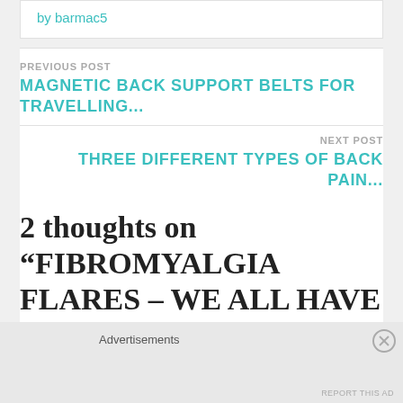by barmac5
PREVIOUS POST
MAGNETIC BACK SUPPORT BELTS FOR TRAVELLING...
NEXT POST
THREE DIFFERENT TYPES OF BACK PAIN...
2 thoughts on “FIBROMYALGIA FLARES – WE ALL HAVE THEM...”
Advertisements